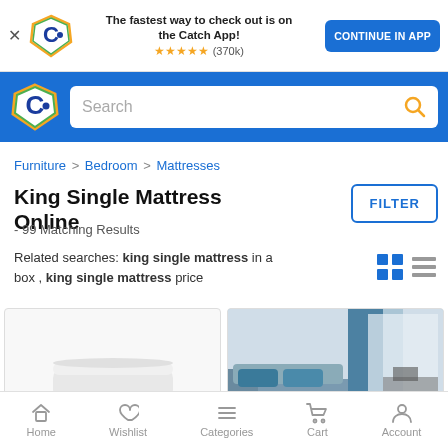[Figure (screenshot): Catch.com.au mobile website screenshot showing app banner, navigation bar with search, breadcrumb, product listing page for King Single Mattress Online with filter button, related searches, product grid, and bottom navigation bar]
The fastest way to check out is on the Catch App! ★★★★★ (370k)
CONTINUE IN APP
Search
Furniture > Bedroom > Mattresses
King Single Mattress Online
FILTER
- 99 Matching Results
Related searches: king single mattress in a box , king single mattress price
Home  Wishlist  Categories  Cart  Account